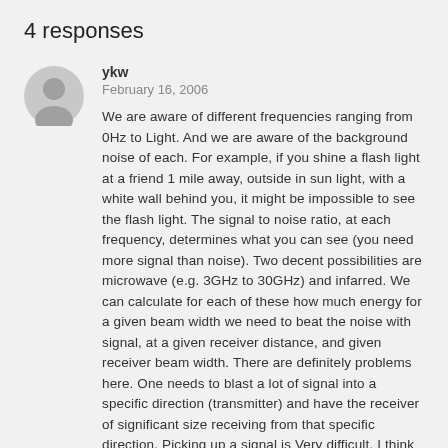4 responses
ykw
February 16, 2006
We are aware of different frequencies ranging from 0Hz to Light. And we are aware of the background noise of each. For example, if you shine a flash light at a friend 1 mile away, outside in sun light, with a white wall behind you, it might be impossible to see the flash light. The signal to noise ratio, at each frequency, determines what you can see (you need more signal than noise). Two decent possibilities are microwave (e.g. 3GHz to 30GHz) and infarred. We can calculate for each of these how much energy for a given beam width we need to beat the noise with signal, at a given receiver distance, and given receiver beam width. There are definitely problems here. One needs to blast a lot of signal into a specific direction (transmitter) and have the receiver of significant size receiving from that specific direction. Picking up a signal is Very difficult. I think the goal right now is just to pick up one signal, and to study it, and to say this is a signal from another civilization. I once asked two folks who are the top of the seti organization using drake's equation, how many civlations could we see if the other guy was